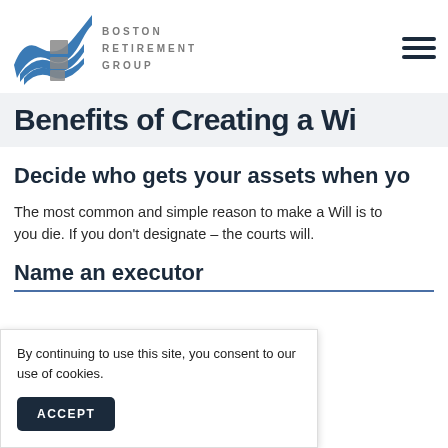[Figure (logo): Boston Retirement Group logo with teal/blue wave graphic and grey text reading BOSTON RETIREMENT GROUP]
Benefits of Creating a Wi...
Decide who gets your assets when yo...
The most common and simple reason to make a Will is to... you die. If you don't designate – the courts will.
Name an executor
By continuing to use this site, you consent to our use of cookies.
ACCEPT
A... .Yo
o... y. W